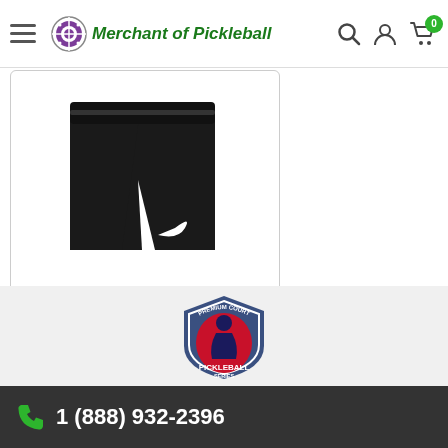Merchant of Pickleball
[Figure (photo): Nike Girls Victory Short in black, showing a pair of black athletic shorts with white Nike swoosh logo on a white background]
Nike Girls Victory Short - Black
$42.00
[Figure (logo): Premium Court Pickleball Series shield logo with red and dark blue colors]
1 (888) 932-2396